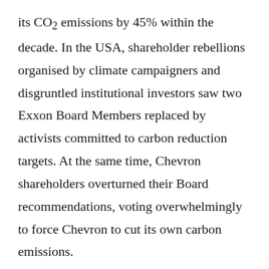its CO2 emissions by 45% within the decade. In the USA, shareholder rebellions organised by climate campaigners and disgruntled institutional investors saw two Exxon Board Members replaced by activists committed to carbon reduction targets. At the same time, Chevron shareholders overturned their Board recommendations, voting overwhelmingly to force Chevron to cut its own carbon emissions.
Some of this is driven more by cashing-in than conscience. Investors can see that fossil fuel's 'magic money tree' is dying. They want their money in safer spaces. Environmental campaigners can see that financial insecurity offers a huge lever for ethical change